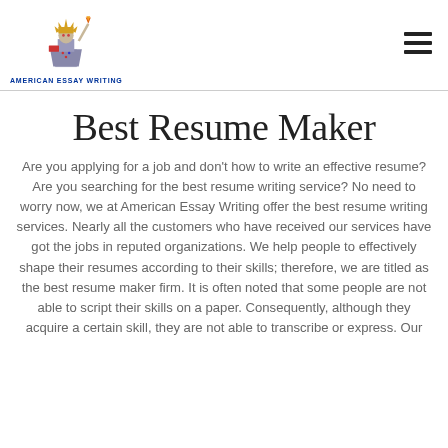[Figure (logo): American Essay Writing logo with Statue of Liberty graphic and text 'AMERICAN ESSAY WRITING']
Best Resume Maker
Are you applying for a job and don’t how to write an effective resume? Are you searching for the best resume writing service? No need to worry now, we at American Essay Writing offer the best resume writing services. Nearly all the customers who have received our services have got the jobs in reputed organizations. We help people to effectively shape their resumes according to their skills; therefore, we are titled as the best resume maker firm. It is often noted that some people are not able to script their skills on a paper. Consequently, although they acquire a certain skill, they are not able to transcribe or express. Our